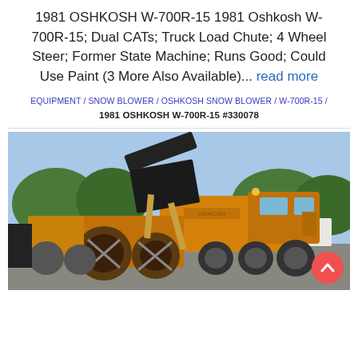1981 OSHKOSH W-700R-15 1981 Oshkosh W-700R-15; Dual CATs; Truck Load Chute; 4 Wheel Steer; Former State Machine; Runs Good; Could Use Paint (3 More Also Available)... read more
EQUIPMENT / SNOW BLOWER / OSHKOSH SNOW BLOWER / W-700R-15 / 1981 OSHKOSH W-700R-15 #330078
[Figure (photo): 1981 Oshkosh W-700R-15 snow blower truck, yellow/orange colored heavy equipment with large front-mounted snow blower auger, parked in a lot with other yellow equipment and trees in background.]